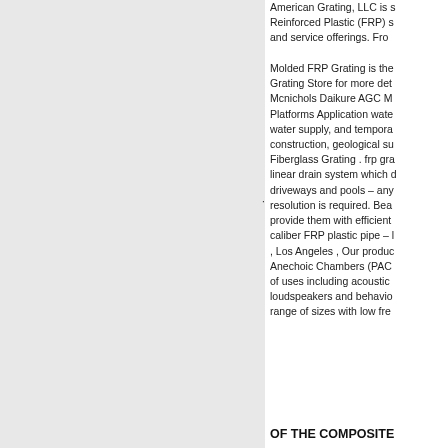American Grating, LLC is … Reinforced Plastic (FRP) s… and service offerings. Fro…
Molded FRP Grating is the… Grating Store for more det… Mcnichols Daikure AGC M… Platforms Application wate… water supply, and tempora… construction, geological su… Fiberglass Grating . frp gra… linear drain system which d… driveways and pools – any… resolution is required. Bea… provide them with efficient… caliber FRP plastic pipe – … , Los Angeles , Our produ… Anechoic Chambers (PAC… of uses including acoustic… loudspeakers and behavio… range of sizes with low fre…
OF THE COMPOSITE